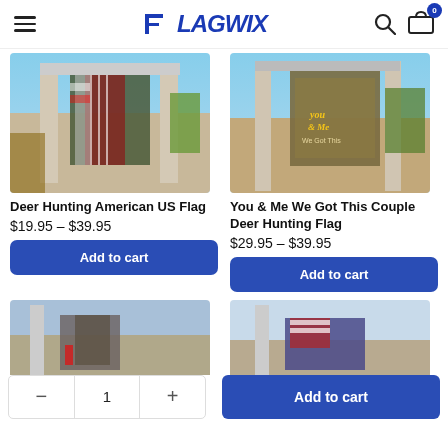FLAGWIX
[Figure (photo): Deer Hunting American US Flag product image showing flag with camo and American flag design hanging on porch]
Deer Hunting American US Flag
$19.95 – $39.95
[Figure (photo): You & Me We Got This Couple Deer Hunting Flag product image showing flag with deer and couple text hanging on porch]
You & Me We Got This Couple Deer Hunting Flag
$29.95 – $39.95
[Figure (photo): Partial view of another hunting flag product, bottom of page]
[Figure (photo): Partial view of another flag product with American flag design, bottom of page]